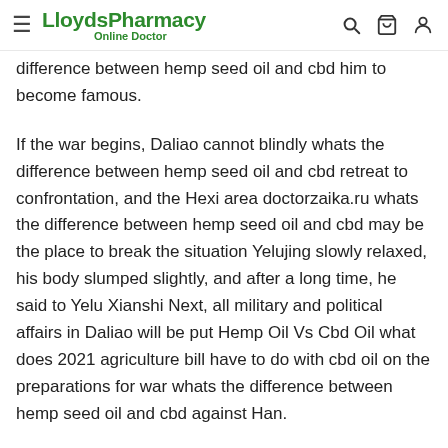LloydsPharmacy Online Doctor
difference between hemp seed oil and cbd him to become famous.
If the war begins, Daliao cannot blindly whats the difference between hemp seed oil and cbd retreat to confrontation, and the Hexi area doctorzaika.ru whats the difference between hemp seed oil and cbd may be the place to break the situation Yelujing slowly relaxed, his body slumped slightly, and after a long time, he said to Yelu Xianshi Next, all military and political affairs in Daliao will be put Hemp Oil Vs Cbd Oil what does 2021 agriculture bill have to do with cbd oil on the preparations for war whats the difference between hemp seed oil and cbd against Han.
This is the movement of troops. This is a good opportunity, with Emperor Han s grasp of the timing in